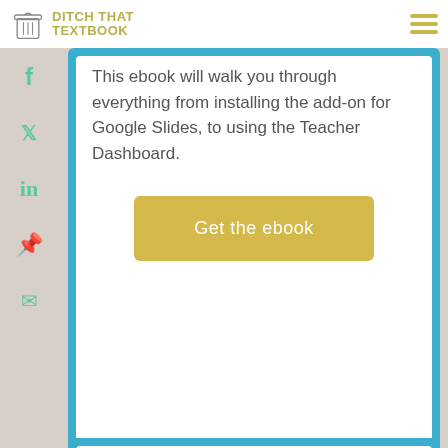DITCH THAT TEXTBOOK
This ebook will walk you through everything from installing the add-on for Google Slides, to using the Teacher Dashboard.
[Figure (other): Yellow button labeled 'Get the ebook']
How do I run a slide